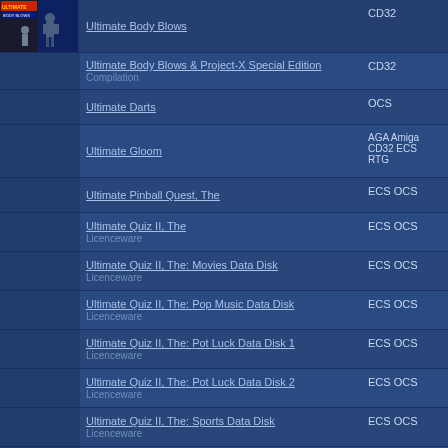| Image | Name | Platform |
| --- | --- | --- |
| [image] | Ultimate Body Blows | CD32 |
|  | Ultimate Body Blows & Project-X Special Edition / Compilation | CD32 |
|  | Ultimate Darts | OCS |
|  | Ultimate Gloom | AGA Amiga CD32 ECS RTG |
|  | Ultimate Pinball Quest, The | ECS OCS |
|  | Ultimate Quiz II, The / Licenceware | ECS OCS |
|  | Ultimate Quiz II, The: Movies Data Disk / Licenceware | ECS OCS |
|  | Ultimate Quiz II, The: Pop Music Data Disk / Licenceware | ECS OCS |
|  | Ultimate Quiz II, The: Pot Luck Data Disk 1 / Licenceware | ECS OCS |
|  | Ultimate Quiz II, The: Pot Luck Data Disk 2 / Licenceware | ECS OCS |
|  | Ultimate Quiz II, The: Sports Data Disk / Licenceware | ECS OCS |
|  | Ultimate Quiz, The / Licenceware | ECS OCS |
|  | Ultimate Ride, The | ECS OCS |
|  | Ultimate Soccer Manager | ECS OCS |
|  | Ultimate Soccer M... | AGA ... |